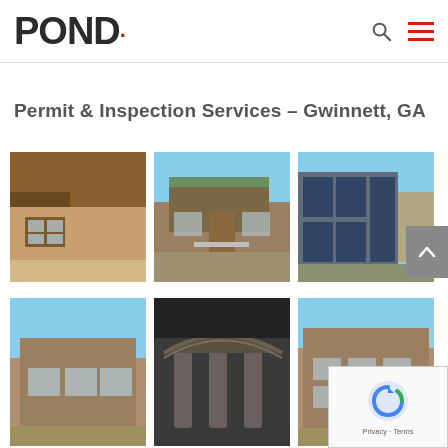POND
Permit & Inspection Services – Gwinnett, GA
[Figure (photo): Exterior of brick building - close up corner view]
[Figure (photo): Exterior of brick school/public building with green roof and walkway ramp]
[Figure (photo): Modern building exterior with large glass curtain wall panels]
[Figure (photo): Exterior of brick building with blue sky]
[Figure (photo): Interior/exterior covered walkway with decorative steel canopy structure]
[Figure (photo): Brick building exterior with windows and blue sky]